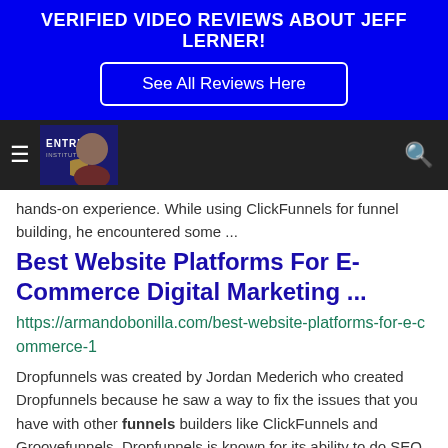VERIFIED VIDEO REVIEWS ABOUT JEFF LERNER!
See All Reviews Here
[Figure (screenshot): Navigation bar with hamburger menu icon, Entre Institute logo with person photo, and search icon on dark background]
hands-on experience. While using ClickFunnels for funnel building, he encountered some ...
Best Website Platforms For E-Commerce Digital Marketing ...
https://armandobonilla.com/best-website-platforms-for-e-commerce-1
Dropfunnels was created by Jordan Mederich who created Dropfunnels because he saw a way to fix the issues that you have with other funnels builders like ClickFunnels and Groovefunnels. Dropfunnels is known for its ability to do SEO with your funnels, home site, and or blog. Here is what you get with DropFunnels. Front